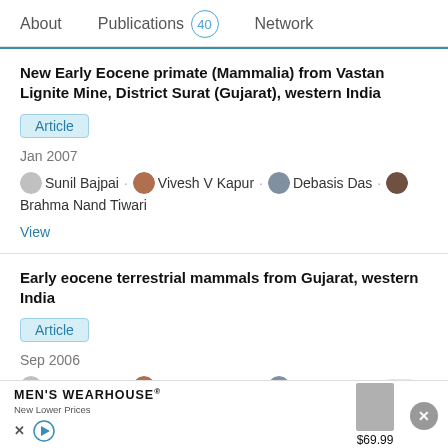About  Publications 40  Network
New Early Eocene primate (Mammalia) from Vastan Lignite Mine, District Surat (Gujarat), western India
Article
Jan 2007
Sunil Bajpai · Vivesh V Kapur · Debasis Das · Brahma Nand Tiwari
View
Early eocene terrestrial mammals from Gujarat, western India
Article
Sep 2006
Sunil Bajpai · Vivesh V Kapur · Debasis Das · [...] · Johannes Thewissen  Advertisement
[Figure (other): Advertisement banner for Men's Wearhouse featuring a suit, price $69.99, New Lower Prices tagline, with close button]